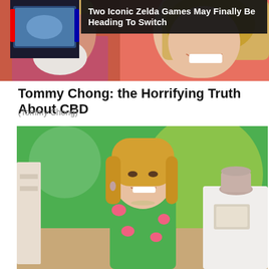[Figure (photo): Top image showing Tommy Chong (older man with white beard, checkered shirt) and a blonde woman smiling, with a Zelda game banner overlay in the top right showing a Nintendo Switch device]
Two Iconic Zelda Games May Finally Be Heading To Switch
Tommy Chong: the Horrifying Truth About CBD
(Tommy Chong)
[Figure (photo): Bottom image showing a blonde woman in a green floral dress seated on a colorful TV show set with green and yellow background, a decorative vase on a white cabinet]